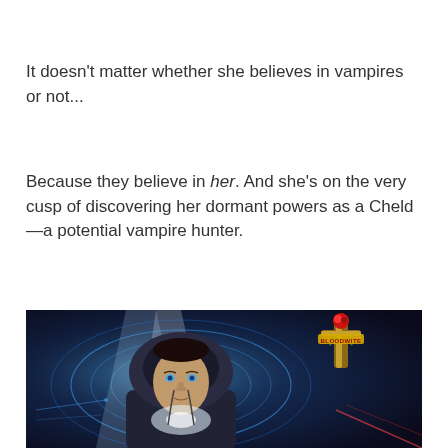It doesn't matter whether she believes in vampires or not...
Because they believe in her. And she's on the very cusp of discovering her dormant powers as a Cheld—a potential vampire hunter.
[Figure (illustration): Book cover image for 'Bloodwite' showing a young man in a dark hoodie with intense blue eyes, surrounded by glowing blue mystical circles and light rays. A decorative cross with the word 'BLOODWITE' and a red rose appears in the upper right corner.]